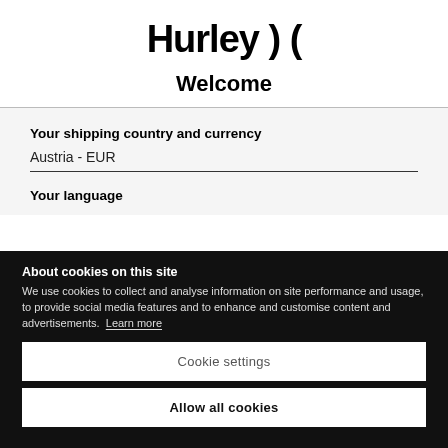[Figure (logo): Hurley logo with stylized wave/bracket symbol]
Welcome
Your shipping country and currency
Austria - EUR
Your language
About cookies on this site
We use cookies to collect and analyse information on site performance and usage, to provide social media features and to enhance and customise content and advertisements. Learn more
Cookie settings
Allow all cookies